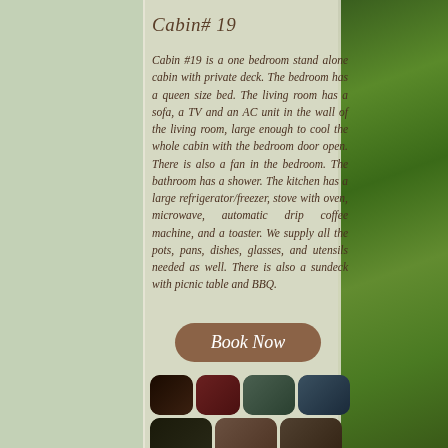Cabin# 19
Cabin #19 is a one bedroom stand alone cabin with private deck. The bedroom has a queen size bed. The living room has a sofa, a TV and an AC unit in the wall of the living room, large enough to cool the whole cabin with the bedroom door open. There is also a fan in the bedroom. The bathroom has a shower. The kitchen has a large refrigerator/freezer, stove with oven, microwave, automatic drip coffee machine, and a toaster. We supply all the pots, pans, dishes, glasses, and utensils needed as well. There is also a sundeck with picnic table and BBQ.
[Figure (other): Book Now button - rounded rectangle brown button with italic white text]
[Figure (photo): Grid of 7 cabin photo thumbnails with rounded corners showing exterior and interior views]